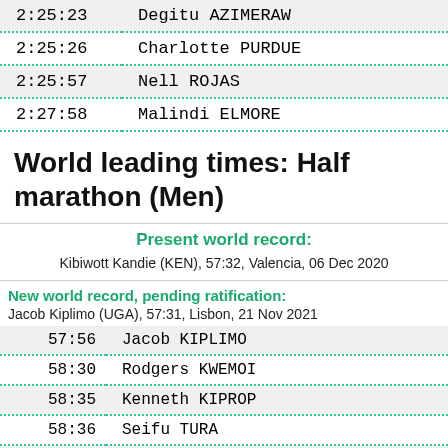| Time | Name |
| --- | --- |
| 2:25:23 | Degitu AZIMERAW |
| 2:25:26 | Charlotte PURDUE |
| 2:25:57 | Nell ROJAS |
| 2:27:58 | Malindi ELMORE |
World leading times: Half marathon (Men)
Present world record:
Kibiwott Kandie (KEN), 57:32, Valencia, 06 Dec 2020
New world record, pending ratification:
Jacob Kiplimo (UGA), 57:31, Lisbon, 21 Nov 2021
| Time | Name |
| --- | --- |
| 57:56 | Jacob KIPLIMO |
| 58:30 | Rodgers KWEMOI |
| 58:35 | Kenneth KIPROP |
| 58:36 | Seifu TURA |
| 58:40 | Amdework WALELEGNE |
| 58:45 | Daniel KIBET |
| 58:48 | Alexander Mutiso MUNY… |